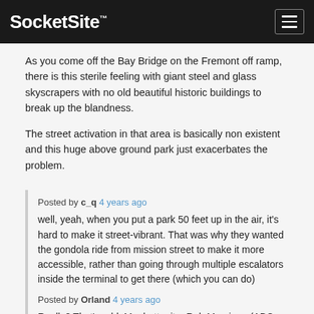SocketSite™
As you come off the Bay Bridge on the Fremont off ramp, there is this sterile feeling with giant steel and glass skyscrapers with no old beautiful historic buildings to break up the blandness.
The street activation in that area is basically non existent and this huge above ground park just exacerbates the problem.
Posted by c_q 4 years ago
well, yeah, when you put a park 50 feet up in the air, it's hard to make it street-vibrant. That was why they wanted the gondola ride from mission street to make it more accessible, rather than going through multiple escalators inside the terminal to get there (which you can do)
Posted by Orland 4 years ago
Really? That's odd, Manhattanite, Rob Marciano (ABC News chief meteorologist who recently was on assignment for the North Bay fires), raved on-air at what a spectacular vista Downtown San Francisco presents upon one's entering from the Bay Bridge.